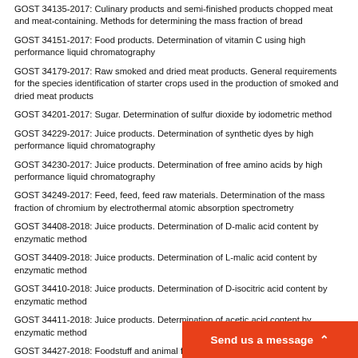GOST 34135-2017: Culinary products and semi-finished products chopped meat and meat-containing. Methods for determining the mass fraction of bread
GOST 34151-2017: Food products. Determination of vitamin C using high performance liquid chromatography
GOST 34179-2017: Raw smoked and dried meat products. General requirements for the species identification of starter crops used in the production of smoked and dried meat products
GOST 34201-2017: Sugar. Determination of sulfur dioxide by iodometric method
GOST 34229-2017: Juice products. Determination of synthetic dyes by high performance liquid chromatography
GOST 34230-2017: Juice products. Determination of free amino acids by high performance liquid chromatography
GOST 34249-2017: Feed, feed, feed raw materials. Determination of the mass fraction of chromium by electrothermal atomic absorption spectrometry
GOST 34408-2018: Juice products. Determination of D-malic acid content by enzymatic method
GOST 34409-2018: Juice products. Determination of L-malic acid content by enzymatic method
GOST 34410-2018: Juice products. Determination of D-isocitric acid content by enzymatic method
GOST 34411-2018: Juice products. Determination of acetic acid content by enzymatic method
GOST 34427-2018: Foodstuff and animal fodder. Determination of mercury by Zeeman atomic absorption spectrometry
GOST 34444-2018: Nanomaterials. Ma…